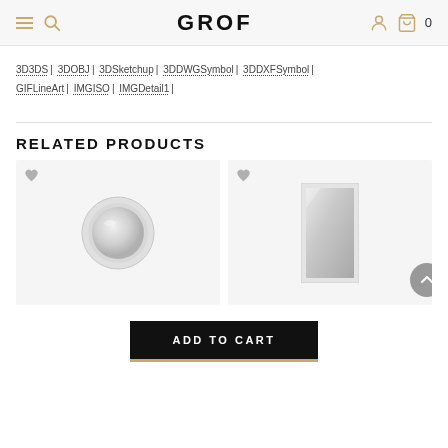GROF — navigation header with hamburger menu, search, logo, user icon, cart (0)
3D3DS | 3DOBJ | 3DSketchup | 3DDWGSymbol | 3DDXFSymbol | GIFLineArt | IMGISO | IMGDetail1 |
RELATED PRODUCTS
[Figure (photo): Round white-framed mirror product image on light gray background]
[Figure (photo): Rectangular white-framed mirror product image on light gray background]
ADD TO CART